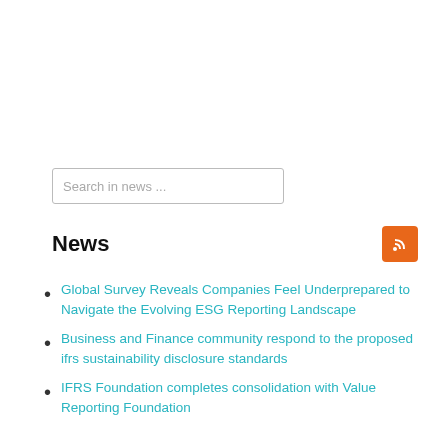[Figure (other): Search input box with placeholder text 'Search in news ...']
News
Global Survey Reveals Companies Feel Underprepared to Navigate the Evolving ESG Reporting Landscape
Business and Finance community respond to the proposed ifrs sustainability disclosure standards
IFRS Foundation completes consolidation with Value Reporting Foundation